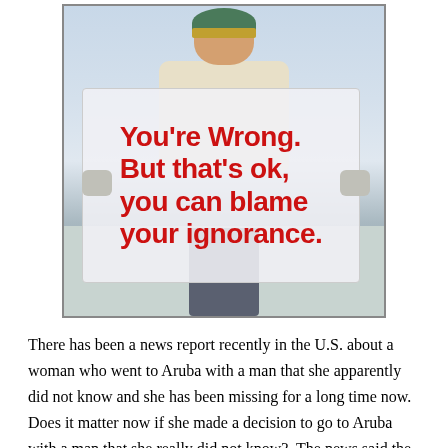[Figure (photo): A person standing outside in snowy winter weather, wearing a green and yellow striped hat and white fur coat, smiling and holding a large sign that reads: "You're Wrong. But that's ok, you can blame your ignorance." in large red text on a white background.]
There has been a news report recently in the U.S. about a woman who went to Aruba with a man that she apparently did not know and she has been missing for a long time now.  Does it matter now if she made a decision to go to Aruba with a man that she really did not know?  The news said the man took out a million dollar insurance policy on